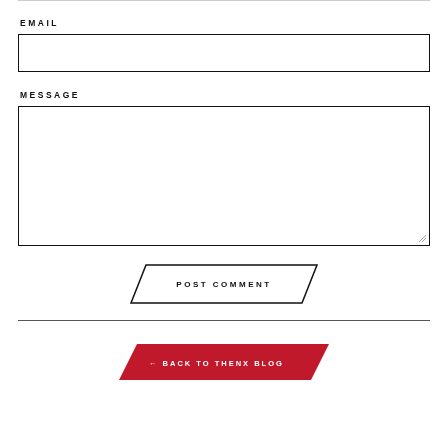EMAIL
[Figure (other): Empty email input field with black border]
MESSAGE
[Figure (other): Empty message textarea with black border and resize indicator]
[Figure (other): POST COMMENT button with parallelogram border outline]
[Figure (other): BACK TO THENX BLOG red parallelogram button with left arrow]